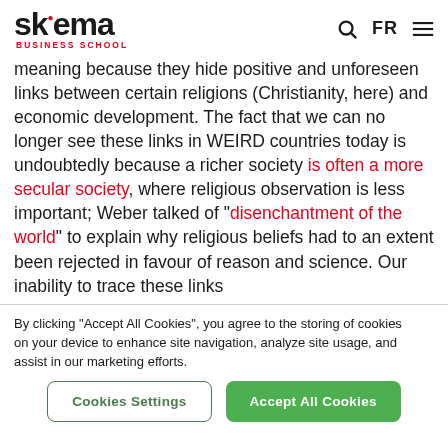SKEMA BUSINESS SCHOOL | Search | FR | Menu
meaning because they hide positive and unforeseen links between certain religions (Christianity, here) and economic development. The fact that we can no longer see these links in WEIRD countries today is undoubtedly because a richer society is often a more secular society, where religious observation is less important; Weber talked of “disenchantment of the world” to explain why religious beliefs had to an extent been rejected in favour of reason and science. Our inability to trace these links
By clicking “Accept All Cookies”, you agree to the storing of cookies on your device to enhance site navigation, analyze site usage, and assist in our marketing efforts.
Cookies Settings | Accept All Cookies